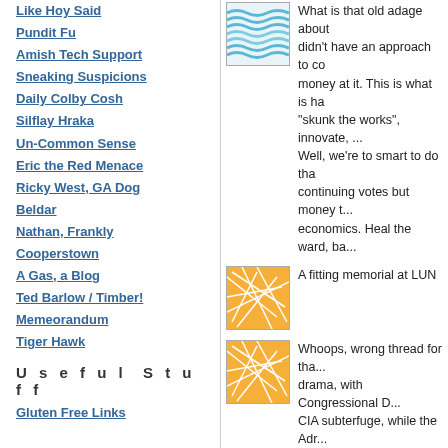Like Hoy Said
Pundit Fu
Amish Tech Support
Sneaking Suspicions
Daily Colby Cosh
Silflay Hraka
Un-Common Sense
Eric the Red Menace
Ricky West, GA Dog
Beldar
Nathan, Frankly
Cooperstown
A Gas, a Blog
Ted Barlow / Timber!
Memeorandum
Tiger Hawk
Useful Stuff
Gluten Free Links
[Figure (illustration): Blue wavy lines thumbnail image]
What is that old adage about... didn't have an approach to co... money at it. This is what is ha... "skunk the works", innovate, ... Well, we're to smart to do tha... continuing votes but money t... economics. Heal the ward, ba...
[Figure (illustration): Orange geometric network pattern thumbnail]
A fitting memorial at LUN
[Figure (illustration): Orange geometric network pattern thumbnail]
Whoops, wrong thread for tha... drama, with Congressional D... CIA subterfuge, while the Adr... Congressional oversight of th... servants' hearts?
Posted by: The press looked upon
[Figure (illustration): Orange and teal mixed geometric thumbnail]